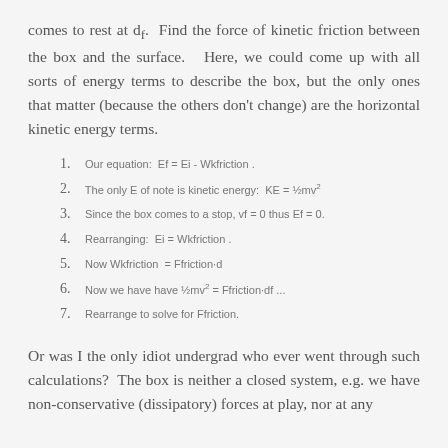comes to rest at df. Find the force of kinetic friction between the box and the surface. Here, we could come up with all sorts of energy terms to describe the box, but the only ones that matter (because the others don't change) are the horizontal kinetic energy terms.
1. Our equation: Ef = Ei - Wkfriction .
2. The only E of note is kinetic energy: KE = ½mv²
3. Since the box comes to a stop, vf = 0 thus Ef = 0.
4. Rearranging: Ei = Wkfriction .
5. Now Wkfriction = Ffriction·d
6. Now we have have ½mv² = Ffriction·df ...
7. Rearrange to solve for Ffriction.
Or was I the only idiot undergrad who ever went through such calculations? The box is neither a closed system, e.g. we have non-conservative (dissipatory) forces at play, nor at any